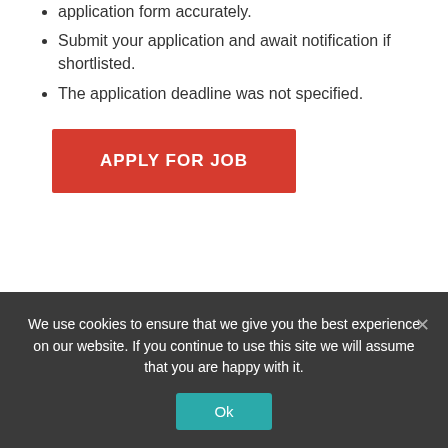application form accurately.
Submit your application and await notification if shortlisted.
The application deadline was not specified.
APPLY FOR JOB
PREVIOUS ARTICLE
Agent Network Manager (South Zone) Job At Stanbic IBTC Bank
NEXT ARTICLE
Client Service Officer – South-South / South East Job At Stanbic IBTC Bank
We use cookies to ensure that we give you the best experience on our website. If you continue to use this site we will assume that you are happy with it.